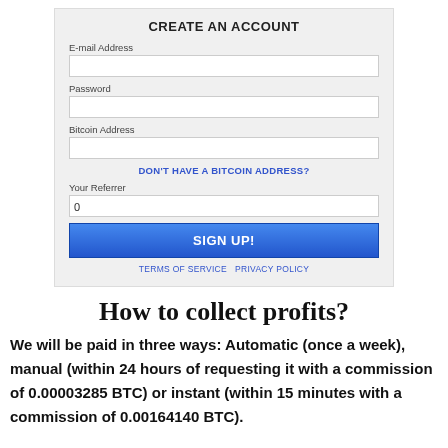[Figure (screenshot): A web form titled 'CREATE AN ACCOUNT' with fields for E-mail Address, Password, Bitcoin Address, a 'DON'T HAVE A BITCOIN ADDRESS?' link, a Your Referrer field pre-filled with 0, a blue SIGN UP! button, and footer links for TERMS OF SERVICE and PRIVACY POLICY.]
How to collect profits?
We will be paid in three ways: Automatic (once a week), manual (within 24 hours of requesting it with a commission of 0.00003285 BTC) or instant (within 15 minutes with a commission of 0.00164140 BTC).